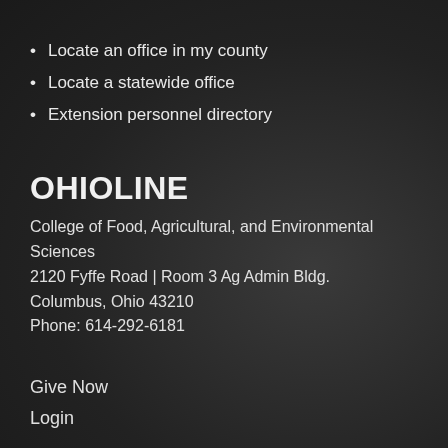Locate an office in my county
Locate a statewide office
Extension personnel directory
OHIOLINE
College of Food, Agricultural, and Environmental Sciences
2120 Fyffe Road | Room 3 Ag Admin Bldg.
Columbus, Ohio 43210
Phone: 614-292-6181
Give Now
Login